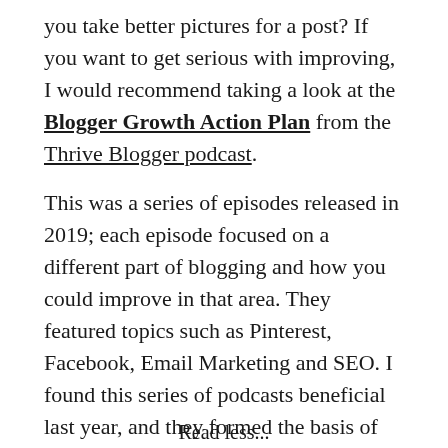you take better pictures for a post? If you want to get serious with improving, I would recommend taking a look at the Blogger Growth Action Plan from the Thrive Blogger podcast.
This was a series of episodes released in 2019; each episode focused on a different part of blogging and how you could improve in that area. They featured topics such as Pinterest, Facebook, Email Marketing and SEO. I found this series of podcasts beneficial last year, and they formed the basis of many changes I made on my blog. Which eventually resulting in my views doubling over the last 6 months.
Read less...